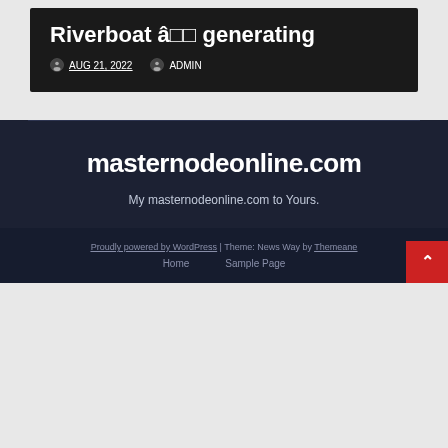Riverboat â generating
AUG 21, 2022  ADMIN
masternodeonline.com
My masternodeonline.com to Yours.
Proudly powered by WordPress | Theme: News Way by Themeane
Home  Sample Page